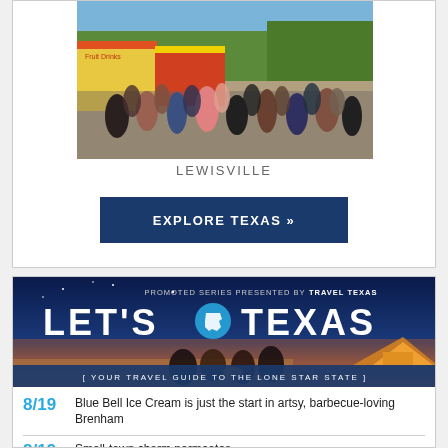[Figure (photo): Crowd of people at an outdoor festival/fair with food vendor stalls and colorful signage, trees in background]
LEWISVILLE
EXPLORE TEXAS »
[Figure (infographic): Let's Texas promotional banner: 'PROMOTED SERIES PRESENTED BY TRAVEL TEXAS' with large 'LET'S TEXAS' text and Texas icon, people around campfire on beach at sunset, subtitle 'YOUR TRAVEL GUIDE TO THE LONE STAR STATE']
8/19  Blue Bell Ice Cream is just the start in artsy, barbecue-loving Brenham
8/19  Small-town charm permeates…